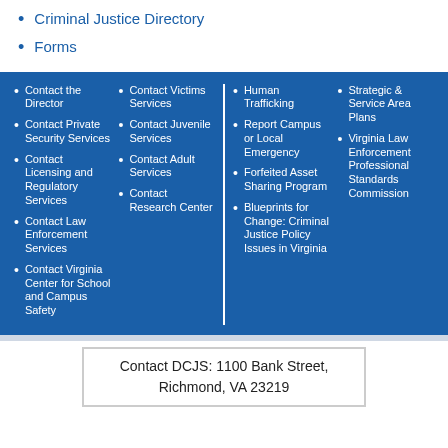Criminal Justice Directory
Forms
Contact the Director
Contact Private Security Services
Contact Licensing and Regulatory Services
Contact Law Enforcement Services
Contact Virginia Center for School and Campus Safety
Contact Victims Services
Contact Juvenile Services
Contact Adult Services
Contact Research Center
Human Trafficking
Report Campus or Local Emergency
Forfeited Asset Sharing Program
Blueprints for Change: Criminal Justice Policy Issues in Virginia
Strategic & Service Area Plans
Virginia Law Enforcement Professional Standards Commission
Contact DCJS: 1100 Bank Street, Richmond, VA 23219